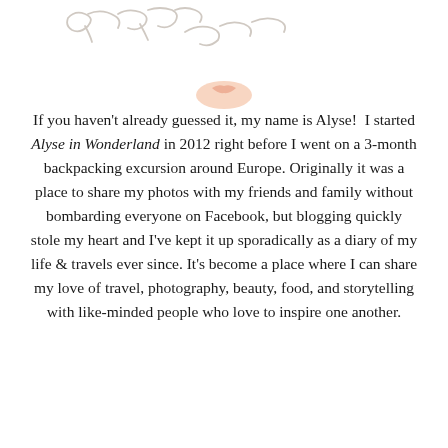[Figure (illustration): Partial illustration of a person's face/portrait at the top of the page, showing a signature-like text and a chin/lips area, cropped at top of page]
If you haven't already guessed it, my name is Alyse!  I started Alyse in Wonderland in 2012 right before I went on a 3-month backpacking excursion around Europe. Originally it was a place to share my photos with my friends and family without bombarding everyone on Facebook, but blogging quickly stole my heart and I've kept it up sporadically as a diary of my life & travels ever since. It's become a place where I can share my love of travel, photography, beauty, food, and storytelling with like-minded people who love to inspire one another.